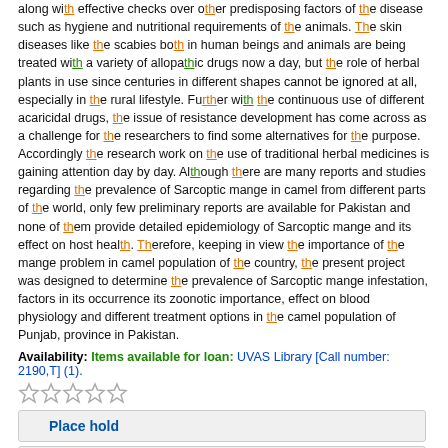along with effective checks over other predisposing factors of the disease such as hygiene and nutritional requirements of the animals. The skin diseases like the scabies both in human beings and animals are being treated with a variety of allopathic drugs now a day, but the role of herbal plants in use since centuries in different shapes cannot be ignored at all, especially in the rural lifestyle. Further with the continuous use of different acaricidal drugs, the issue of resistance development has come across as a challenge for the researchers to find some alternatives for the purpose. Accordingly the research work on the use of traditional herbal medicines is gaining attention day by day. Although there are many reports and studies regarding the prevalence of Sarcoptic mange in camel from different parts of the world, only few preliminary reports are available for Pakistan and none of them provide detailed epidemiology of Sarcoptic mange and its effect on host health. Therefore, keeping in view the importance of the mange problem in camel population of the country, the present project was designed to determine the prevalence of Sarcoptic mange infestation, factors in its occurrence its zoonotic importance, effect on blood physiology and different treatment options in the camel population of Punjab, province in Pakistan.
Availability: Items available for loan: UVAS Library [Call number: 2190,T] (1).
Place hold
Add to cart
Clinico-Epidemiological And Experimental Observations On Feline Lower Urinary Tract Disease Among Domesticated Cats
by Abeera Naureen (2007-VA-541) | Prof. Dr. Muhammad Sarwar Khan | Prof. Dr. Muhammad Arif Khan | Prof. Dr. Azhar Maqbool.